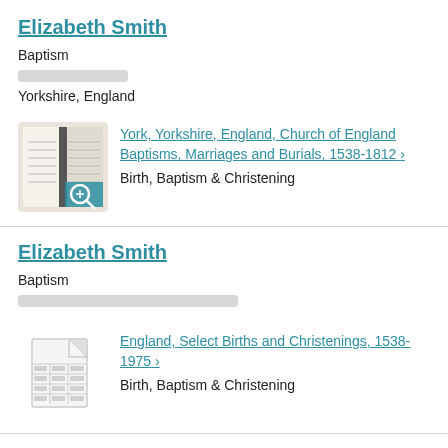Elizabeth Smith
Baptism
[redacted]
Yorkshire, England
[Figure (photo): Thumbnail of a historical parish register book with a magnifying glass icon overlay]
York, Yorkshire, England, Church of England Baptisms, Marriages and Burials, 1538-1812 > Birth, Baptism & Christening
Elizabeth Smith
Baptism
[redacted]
[Figure (illustration): Thumbnail icon of a document/record sheet with lines representing text]
England, Select Births and Christenings, 1538-1975 > Birth, Baptism & Christening